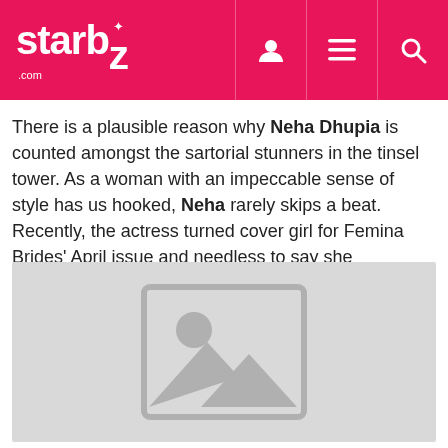starbiz.com
There is a plausible reason why Neha Dhupia is counted amongst the sartorial stunners in the tinsel tower. As a woman with an impeccable sense of style has us hooked, Neha rarely skips a beat. Recently, the actress turned cover girl for Femina Brides' April issue and needless to say she absolutely rocked all the bridal looks.
[Figure (photo): Placeholder image with a grey background showing a generic image icon (mountain and sun silhouette outline)]